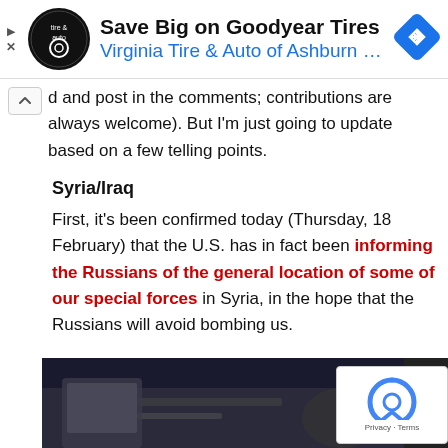[Figure (screenshot): Advertisement banner for Virginia Tire & Auto of Ashburn featuring Save Big on Goodyear Tires]
d and post in the comments; contributions are always welcome).  But I'm just going to update based on a few telling points.
Syria/Iraq
First, it's been confirmed today (Thursday, 18 February) that the U.S. has in fact been informing the Russians of the general location of some of our special forces in Syria, in the hope that the Russians will avoid bombing us.
[Figure (photo): Photo of person looking at documents or maps, partially visible at bottom of page]